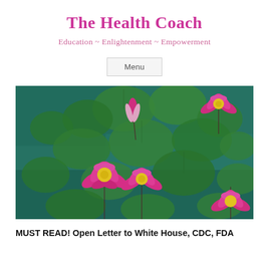The Health Coach
Education ~ Enlightenment ~ Empowerment
Menu
[Figure (photo): A pond scene with pink water lily (lotus) flowers blooming among large round green lily pads on teal-green water. Multiple vibrant pink blooms visible at various stages.]
MUST READ! Open Letter to White House, CDC, FDA